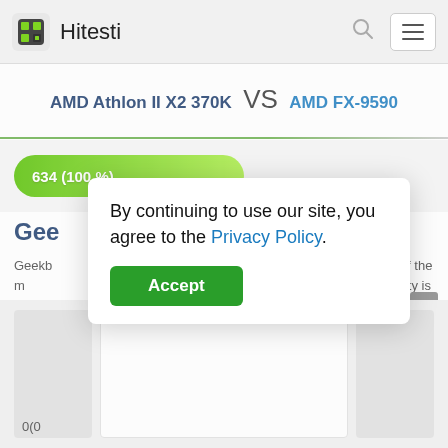Hitesti
AMD Athlon II X2 370K VS AMD FX-9590
[Figure (bar-chart): Geekbench score bar]
Gee
Geekb... of the m... or. Here the hyperthreading ability is counted.
By continuing to use our site, you agree to the Privacy Policy.
Accept
0(0